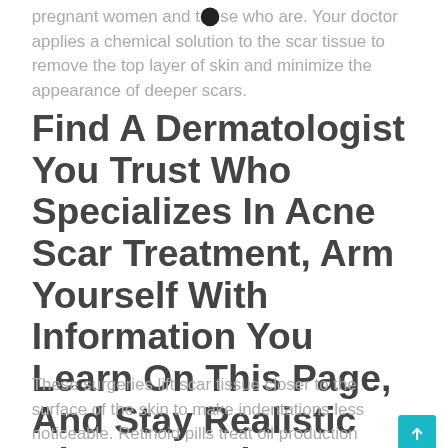pregnant women and those who are. Your doctor applies a chemical solution to the scar tissue to remove the top layer of skin and minimize the appearance of deeper scars.
Find A Dermatologist You Trust Who Specializes In Acne Scar Treatment, Arm Yourself With Information You Learn On This Page, And Stay Realistic About Results.
These surgeries lift scar tissue closer to the surface of the skin to make indentations less noticeable. Retinoid pills treat oil production bacteria that cause acne, and inflammation